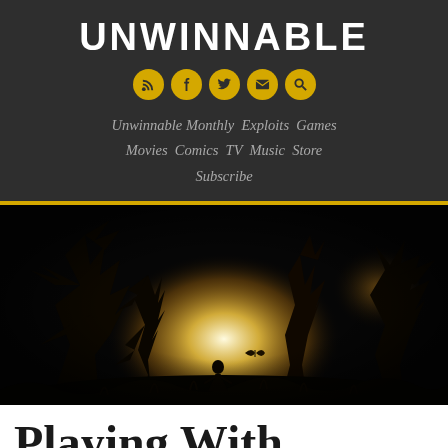UNWINNABLE
[Figure (illustration): Silhouette of a girl and butterfly in a glowing forest with dark tree silhouettes against warm amber/white light]
Playing With